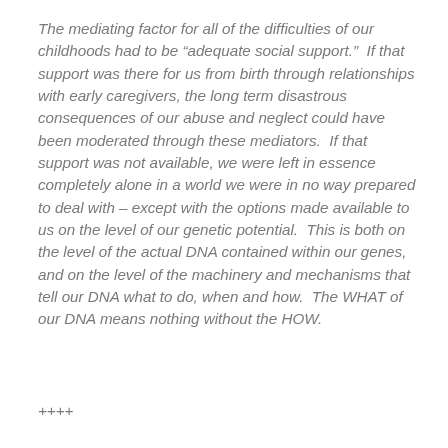The mediating factor for all of the difficulties of our childhoods had to be “adequate social support.”  If that support was there for us from birth through relationships with early caregivers, the long term disastrous consequences of our abuse and neglect could have been moderated through these mediators.  If that support was not available, we were left in essence completely alone in a world we were in no way prepared to deal with – except with the options made available to us on the level of our genetic potential.  This is both on the level of the actual DNA contained within our genes, and on the level of the machinery and mechanisms that tell our DNA what to do, when and how.  The WHAT of our DNA means nothing without the HOW.
++++